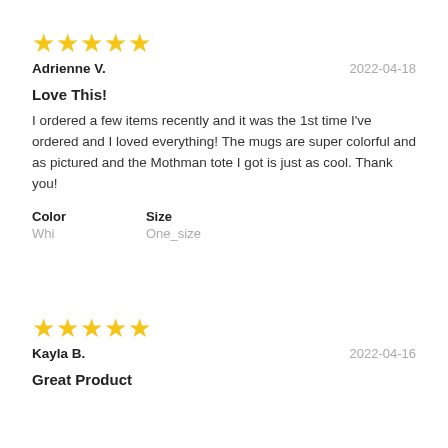[Figure (other): Five gold stars rating]
Adrienne V.         2022-04-18
Love This!
I ordered a few items recently and it was the 1st time I've ordered and I loved everything! The mugs are super colorful and as pictured and the Mothman tote I got is just as cool. Thank you!
Color
Whi
Size
One_size
[Figure (other): Five gold stars rating]
Kayla B.         2022-04-16
Great Product